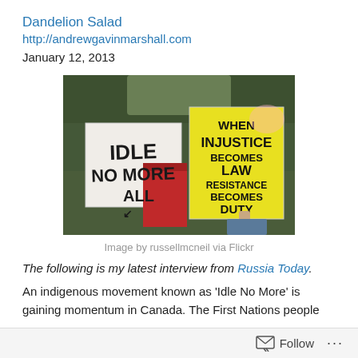Dandelion Salad
http://andrewgavinmarshall.com
January 12, 2013
[Figure (photo): Protest photo showing two signs: one white sign reading 'IDLE NO MORE ALL' and one yellow sign reading 'WHEN INJUSTICE BECOMES LAW RESISTANCE BECOMES DUTY']
Image by russellmcneil via Flickr
The following is my latest interview from Russia Today.
An indigenous movement known as 'Idle No More' is gaining momentum in Canada. The First Nations people
Follow ...